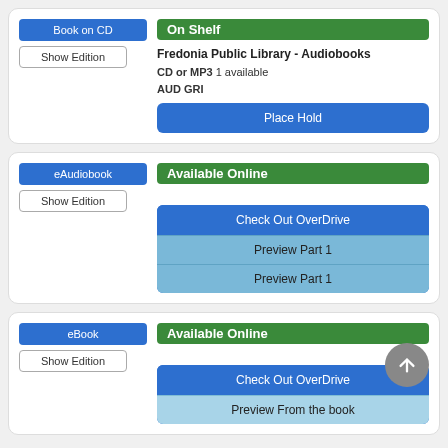Book on CD
Show Edition
On Shelf
Fredonia Public Library - Audiobooks
CD or MP3  1 available
AUD GRI
Place Hold
eAudiobook
Show Edition
Available Online
Check Out OverDrive
Preview Part 1
Preview Part 1
eBook
Show Edition
Available Online
Check Out OverDrive
Preview From the book